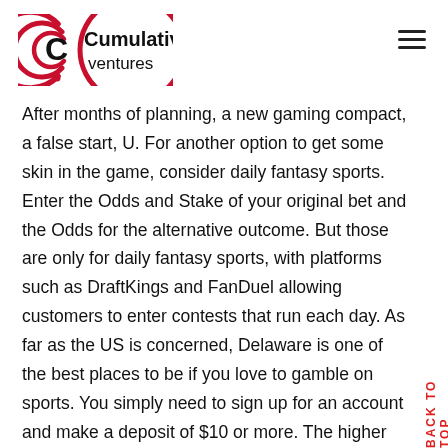[Figure (logo): Cumulative Ventures logo — red concentric-arc C symbol with black text 'Cumulative ventures']
After months of planning, a new gaming compact, a false start, U. For another option to get some skin in the game, consider daily fantasy sports. Enter the Odds and Stake of your original bet and the Odds for the alternative outcome. But those are only for daily fantasy sports, with platforms such as DraftKings and FanDuel allowing customers to enter contests that run each day. As far as the US is concerned, Delaware is one of the best places to be if you love to gamble on sports. You simply need to sign up for an account and make a deposit of $10 or more. The higher the odds are, the more you will win, relative to your stake. 5